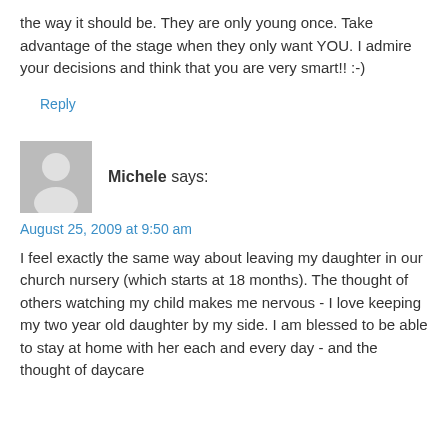I love the fact that you are close to your kids. That is the way it should be. They are only young once. Take advantage of the stage when they only want YOU. I admire your decisions and think that you are very smart!! :-)
Reply
[Figure (illustration): Generic gray avatar icon showing silhouette of a person]
Michele says:
August 25, 2009 at 9:50 am
I feel exactly the same way about leaving my daughter in our church nursery (which starts at 18 months). The thought of others watching my child makes me nervous - I love keeping my two year old daughter by my side. I am blessed to be able to stay at home with her each and every day - and the thought of daycare